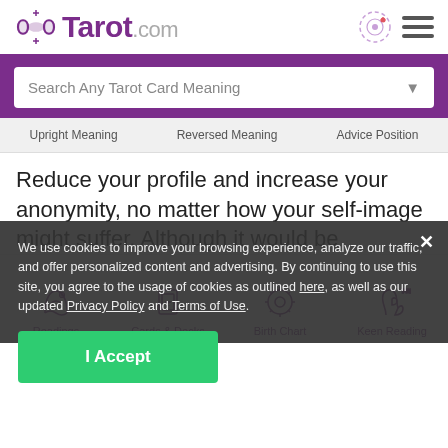[Figure (logo): Tarot.com logo with moon icon on the left and navigation icons on the right]
[Figure (screenshot): Search bar with text 'Search Any Tarot Card Meaning' and dropdown arrow]
Upright Meaning   Reversed Meaning   Advice Position
Reduce your profile and increase your anonymity, no matter how your self-image might suffer. Although it would be gratifying to accomplish what needs to be done and be aboveboard about it, that cannot be a priority at present.
We use cookies to improve your browsing experience, analyze our traffic, and offer personalized content and advertising. By continuing to use this site, you agree to the usage of cookies as outlined here, as well as our updated Privacy Policy and Terms of Use.
I Accept
[Figure (illustration): Bottom navigation bar with icons for Readings, Cards & Decks, Birth Chart, Keen Reading]